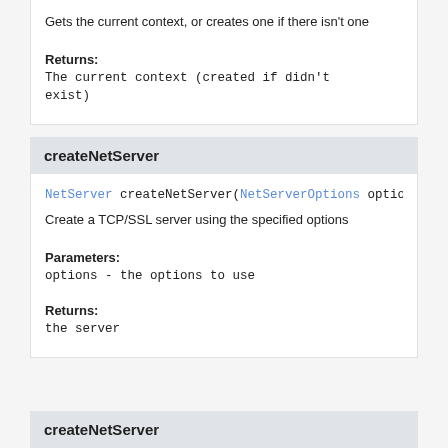Gets the current context, or creates one if there isn't one
Returns:
The current context (created if didn't exist)
createNetServer
NetServer createNetServer(NetServerOptions options
Create a TCP/SSL server using the specified options
Parameters:
options - the options to use
Returns:
the server
createNetServer